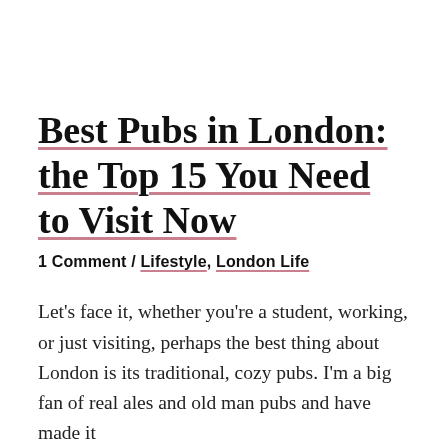Best Pubs in London: the Top 15 You Need to Visit Now
1 Comment / Lifestyle, London Life
Let's face it, whether you're a student, working, or just visiting, perhaps the best thing about London is its traditional, cozy pubs. I'm a big fan of real ales and old man pubs and have made it